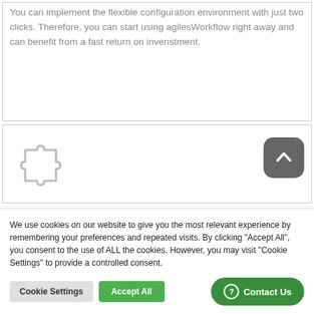You can implement the flexible configuration environment with just two clicks. Therefore, you can start using agilesWorkflow right away and can benefit from a fast return on invenstment.
[Figure (illustration): Puzzle piece icon (outline style, light gray)]
We use cookies on our website to give you the most relevant experience by remembering your preferences and repeated visits. By clicking "Accept All", you consent to the use of ALL the cookies. However, you may visit "Cookie Settings" to provide a controlled consent.